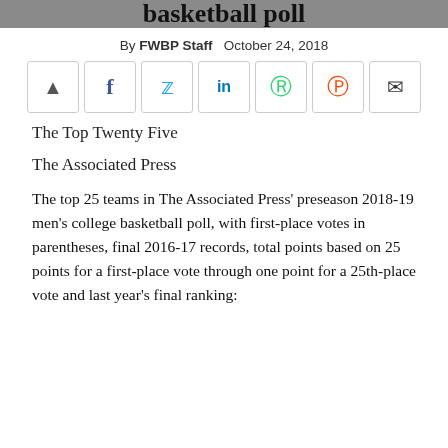basketball poll
By FWBP Staff   October 24, 2018
[Figure (infographic): Social share buttons: share, Facebook, Twitter, LinkedIn, WhatsApp, Reddit, Email]
The Top Twenty Five
The Associated Press
The top 25 teams in The Associated Press’ preseason 2018-19 men’s college basketball poll, with first-place votes in parentheses, final 2016-17 records, total points based on 25 points for a first-place vote through one point for a 25th-place vote and last year’s final ranking: